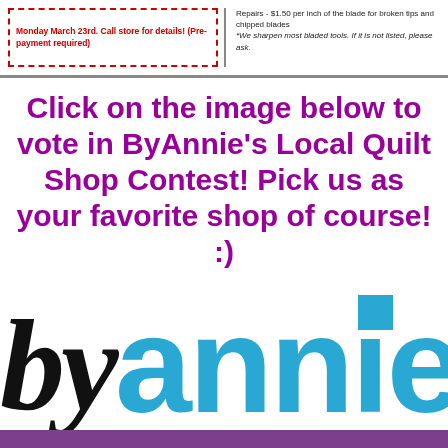[Figure (other): Top banner with two columns: left column has a red dashed-border box with red text about Monday March 23rd call store for details (Pre-payment required); right column has text about Repairs $1.50 per inch of the blade for broken tips and chipped blades, and italic note about sharpening most bladed tools.]
Click on the image below to vote in ByAnnie's Local Quilt Shop Contest! Pick us as your favorite shop of course!  :)
[Figure (logo): ByAnnie logo: 'by' in large black italic serif font, 'annie' in large bold cyan/blue sans-serif font, with a cyan square above the second 'n'. Purple bar at bottom.]